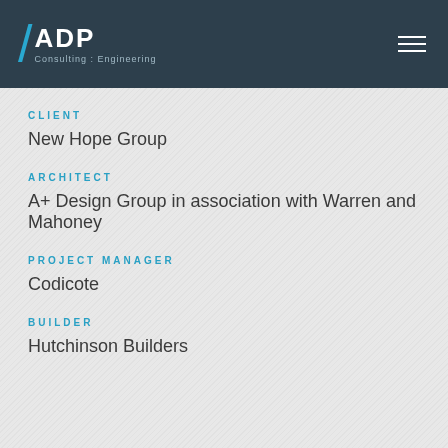[Figure (logo): ADP Consulting Engineering logo with blue slash and white text on dark background]
CLIENT
New Hope Group
ARCHITECT
A+ Design Group in association with Warren and Mahoney
PROJECT MANAGER
Codicote
BUILDER
Hutchinson Builders